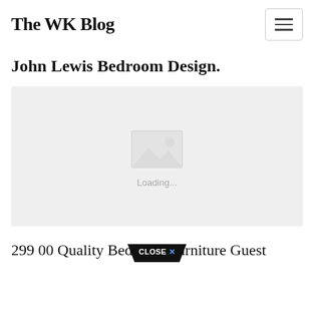The WK Blog
John Lewis Bedroom Design.
[Figure (photo): Image placeholder with loading indicator showing a grey background with a photo icon and 'Loading...' text]
299 00 Quality Bedroom Furniture Guest